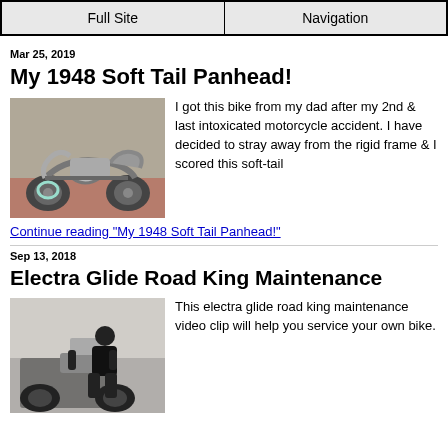Full Site | Navigation
Mar 25, 2019
My 1948 Soft Tail Panhead!
[Figure (photo): Photo of a 1948 Panhead motorcycle parked in a garage/shop]
I got this bike from my dad after my 2nd & last intoxicated motorcycle accident. I have decided to stray away from the rigid frame & I scored this soft-tail
Continue reading "My 1948 Soft Tail Panhead!"
Sep 13, 2018
Electra Glide Road King Maintenance
[Figure (photo): Photo of a man working on an Electra Glide Road King motorcycle in a garage]
This electra glide road king maintenance video clip will help you service your own bike.